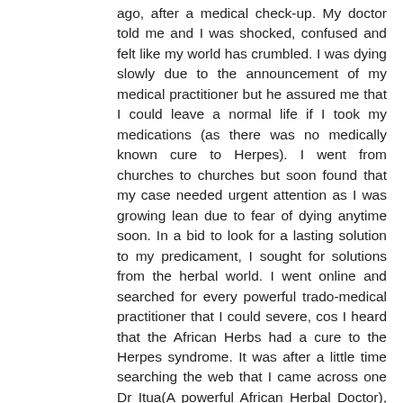ago, after a medical check-up. My doctor told me and I was shocked, confused and felt like my world has crumbled. I was dying slowly due to the announcement of my medical practitioner but he assured me that I could leave a normal life if I took my medications (as there was no medically known cure to Herpes). I went from churches to churches but soon found that my case needed urgent attention as I was growing lean due to fear of dying anytime soon. In a bid to look for a lasting solution to my predicament, I sought for solutions from the herbal world. I went online and searched for every powerful trado-medical practitioner that I could severe, cos I heard that the African Herbs had a cure to the Herpes syndrome. It was after a little time searching the web that I came across one Dr Itua(A powerful African Herbal Doctor), who offered to help me at a monetary fee. I had to comply as this was my final bus-stop to receiving a perfect healing. My last resolve was to take my life by myself, should this plan fail. At last it worked out well. He gave me some steps to follow and I meticulously carried out all his instructions. Last month, to be precise, I went back to the hospital to conduct another test and to my amazement, the results showed that negative,Dr Itua Can